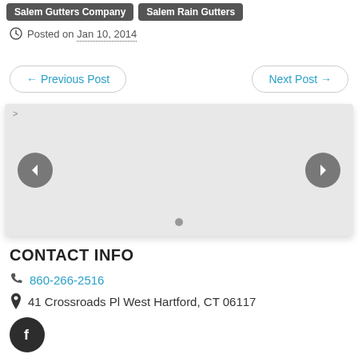Salem Gutters Company | Salem Rain Gutters
Posted on Jan 10, 2014
← Previous Post    Next Post →
[Figure (other): Image slider widget with left and right navigation arrows and a dot indicator at the bottom center]
CONTACT INFO
860-266-2516
41 Crossroads Pl West Hartford, CT 06117
[Figure (logo): Facebook icon button — dark circle with white 'f' logo]